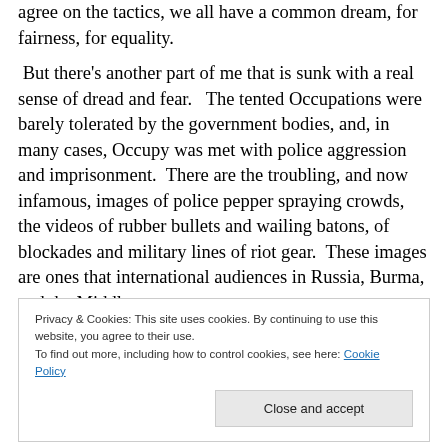agree on the tactics, we all have a common dream, for fairness, for equality.
But there's another part of me that is sunk with a real sense of dread and fear.   The tented Occupations were barely tolerated by the government bodies, and, in many cases, Occupy was met with police aggression and imprisonment.  There are the troubling, and now infamous, images of police pepper spraying crowds, the videos of rubber bullets and wailing batons, of blockades and military lines of riot gear.  These images are ones that international audiences in Russia, Burma, and the Middle
Privacy & Cookies: This site uses cookies. By continuing to use this website, you agree to their use.
To find out more, including how to control cookies, see here: Cookie Policy
survive the ubiquitous pressures of the corporate kings?